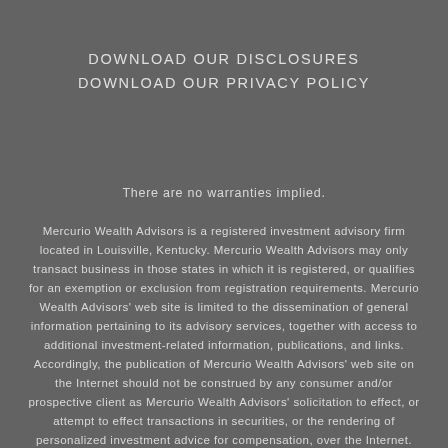DOWNLOAD OUR DISCLOSURES
DOWNLOAD OUR PRIVACY POLICY
There are no warranties implied.
Mercurio Wealth Advisors is a registered investment advisory firm located in Louisville, Kentucky. Mercurio Wealth Advisors may only transact business in those states in which it is registered, or qualifies for an exemption or exclusion from registration requirements. Mercurio Wealth Advisors' web site is limited to the dissemination of general information pertaining to its advisory services, together with access to additional investment-related information, publications, and links. Accordingly, the publication of Mercurio Wealth Advisors' web site on the Internet should not be construed by any consumer and/or prospective client as Mercurio Wealth Advisors' solicitation to effect, or attempt to effect transactions in securities, or the rendering of personalized investment advice for compensation, over the Internet. Any subsequent, direct communication by Mercurio Wealth Advisors with a prospective client shall be conducted